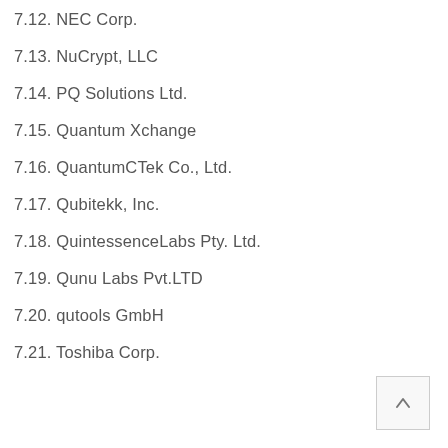7.12. NEC Corp.
7.13. NuCrypt, LLC
7.14. PQ Solutions Ltd.
7.15. Quantum Xchange
7.16. QuantumCTek Co., Ltd.
7.17. Qubitekk, Inc.
7.18. QuintessenceLabs Pty. Ltd.
7.19. Qunu Labs Pvt.LTD
7.20. qutools GmbH
7.21. Toshiba Corp.